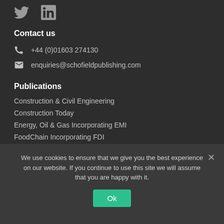[Figure (logo): Twitter bird icon and LinkedIn 'in' icon in gray]
Contact us
+44 (0)01603 274130
enquiries@schofieldpublishing.com
Publications
Construction & Civil Engineering
Construction Today
Energy, Oil & Gas Incorporating EMI
FoodChain Incorporating FDI
We use cookies to ensure that we give you the best experience on our website. If you continue to use this site we will assume that you are happy with it.